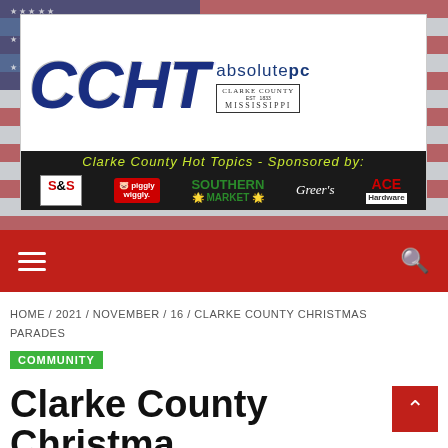[Figure (logo): CCHT Clarke County Hot Topics banner logo with sponsors: absolutepc, Clarke County Mississippi, S&S Signs, Piggly Wiggly, Southern Market, Greer's, ACE Hardware. Background is a distressed American flag.]
Navigation bar with hamburger menu and search icon
HOME / 2021 / NOVEMBER / 16 / CLARKE COUNTY CHRISTMAS PARADES
COMMUNITY
Clarke County Christma... Parades